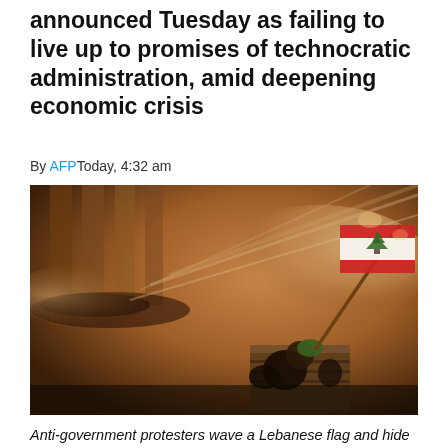announced Tuesday as failing to live up to promises of technocratic administration, amid deepening economic crisis
By AFP Today, 4:32 am
[Figure (photo): Anti-government protesters waving a Lebanese flag and hiding behind a wood barrier from a water cannon spray during protests in Lebanon.]
Anti-government protesters wave a Lebanese flag and hide behind a wood barrier from a water cannon as they